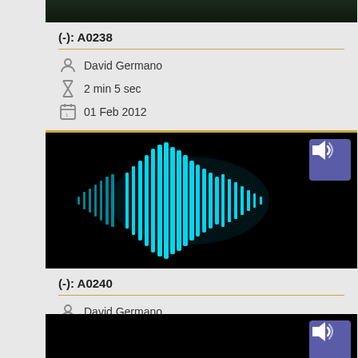[Figure (screenshot): Audio recording card for A0238 showing dark waveform thumbnail at top (partially cut off)]
(-): A0238
David Germano
2 min 5 sec
01 Feb 2012
Tibetan and Himalayan Li...
[Figure (screenshot): Audio recording card for A0240 showing cyan waveform visualization on black background with speaker icon]
(-): A0240
David Germano
1 min 21 sec
01 Feb 2012
Tibetan and Himalayan Li...
[Figure (screenshot): Partially visible audio recording card at bottom with black thumbnail and speaker icon]